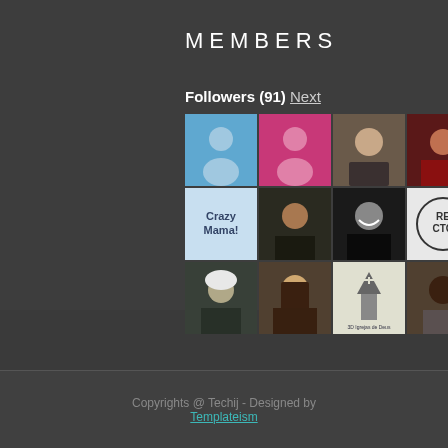MEMBERS
Followers (91) Next
[Figure (photo): Grid of 21 member profile avatars arranged in 3 rows of 7]
Copyrights @ Techij - Designed by Templateism